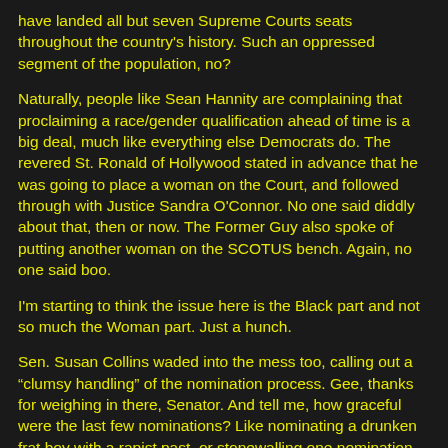have landed all but seven Supreme Courts seats throughout the country's history. Such an oppressed segment of the population, no?
Naturally, people like Sean Hannity are complaining that proclaiming a race/gender qualification ahead of time is a big deal, much like everything else Democrats do. The revered St. Ronald of Hollywood stated in advance that he was going to place a woman on the Court, and followed through with Justice Sandra O'Connor. No one said diddly about that, then or now. The Former Guy also spoke of putting another woman on the SCOTUS bench. Again, no one said boo.
I'm starting to think the issue here is the Black part and not so much the Woman part. Just a hunch.
Sen. Susan Collins waded into the mess too, calling out a “clumsy handling” of the nomination process. Gee, thanks for weighing in there, Senator. And tell me, how graceful were the last few nominations? Like nominating a drunken frat boy with a rapist past, or stonewalling one nomination for 10 months while hustling the next one through in two weeks.